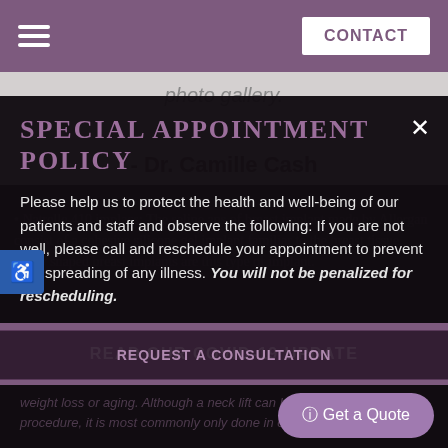CONTACT
photo gallery.
- Dr. Camille Cash
Special Appointment Policy
Please help us to protect the health and well-being of our patients and staff and observe the following: If you are not well, please call and reschedule your appointment to prevent the spreading of any illness. You will not be penalized for rescheduling.
READ OUR COVID-19 UPDATE
REQUEST A CONSULTATION
ⓘ Get a Quote